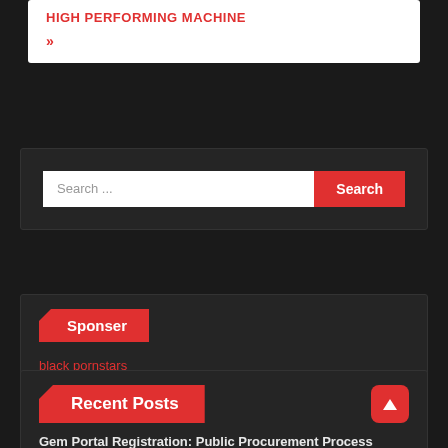HIGH PERFORMING MACHINE
»
Search ...
Sponser
black pornstars
Recent Posts
Gem Portal Registration: Public Procurement Process